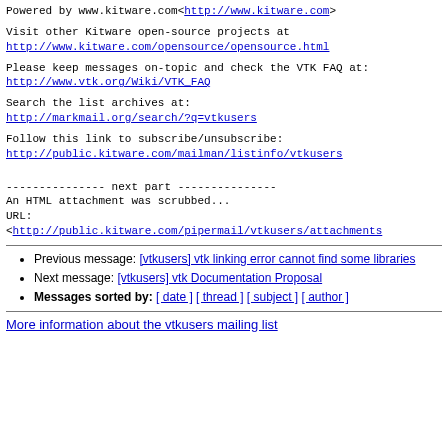Powered by www.kitware.com<http://www.kitware.com>
Visit other Kitware open-source projects at http://www.kitware.com/opensource/opensource.html
Please keep messages on-topic and check the VTK FAQ at: http://www.vtk.org/Wiki/VTK_FAQ
Search the list archives at: http://markmail.org/search/?q=vtkusers
Follow this link to subscribe/unsubscribe: http://public.kitware.com/mailman/listinfo/vtkusers
--------------- next part ---------------
An HTML attachment was scrubbed...
URL:
<http://public.kitware.com/pipermail/vtkusers/attachments
Previous message: [vtkusers] vtk linking error cannot find some libraries
Next message: [vtkusers] vtk Documentation Proposal
Messages sorted by: [ date ] [ thread ] [ subject ] [ author ]
More information about the vtkusers mailing list